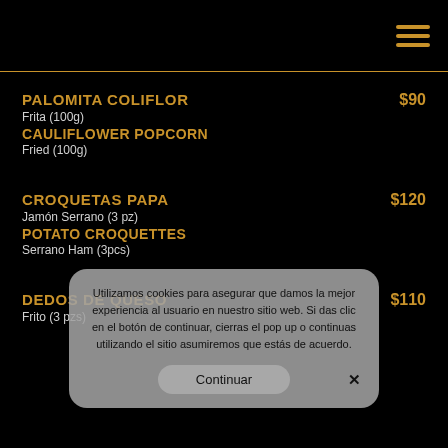Navigation menu icon (hamburger)
PALOMITA COLIFLOR $90 / Frita (100g) / CAULIFLOWER POPCORN / Fried (100g)
CROQUETAS PAPA $120 / Jamón Serrano (3 pz) / POTATO CROQUETTES / Serrano Ham (3pcs)
DEDOS DE QUESO $110 / Frito (3 pzs)
Utilizamos cookies para asegurar que damos la mejor experiencia al usuario en nuestro sitio web. Si das clic en el botón de continuar, cierras el pop up o continuas utilizando el sitio asumiremos que estás de acuerdo.
Continuar